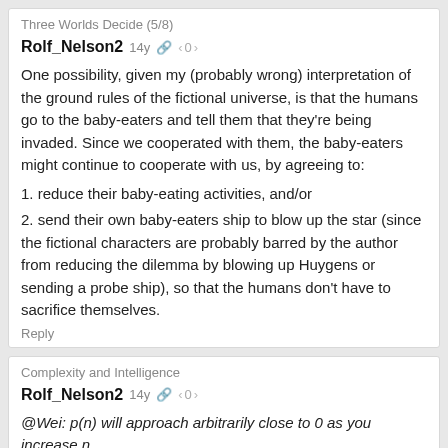Three Worlds Decide (5/8)
Rolf_Nelson2  14y  0
One possibility, given my (probably wrong) interpretation of the ground rules of the fictional universe, is that the humans go to the baby-eaters and tell them that they're being invaded. Since we cooperated with them, the baby-eaters might continue to cooperate with us, by agreeing to:
1. reduce their baby-eating activities, and/or
2. send their own baby-eaters ship to blow up the star (since the fictional characters are probably barred by the author from reducing the dilemma by blowing up Huygens or sending a probe ship), so that the humans don't have to sacrifice themselves.
Reply
Complexity and Intelligence
Rolf_Nelson2  14y  0
@Wei: p(n) will approach arbitrarily close to 0 as you increase n.